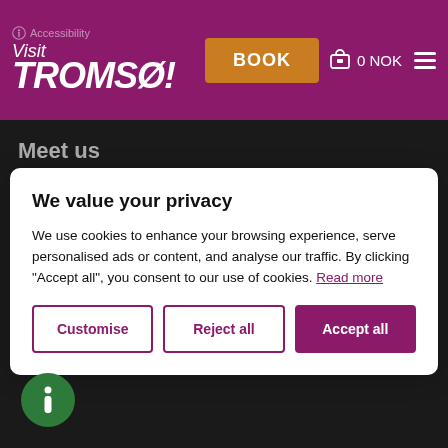Visit Tromsø! — BOOK — 0 NOK
Meet us
We value your privacy
We use cookies to enhance your browsing experience, serve personalised ads or content, and analyse our traffic. By clicking "Accept all", you consent to our use of cookies. Read more
Customise
Reject all
Accept all
[Figure (logo): Green circle information icon at bottom left of dark background area]